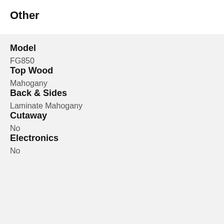Other
Model
FG850
Top Wood
Mahogany
Back & Sides
Laminate Mahogany
Cutaway
No
Electronics
No